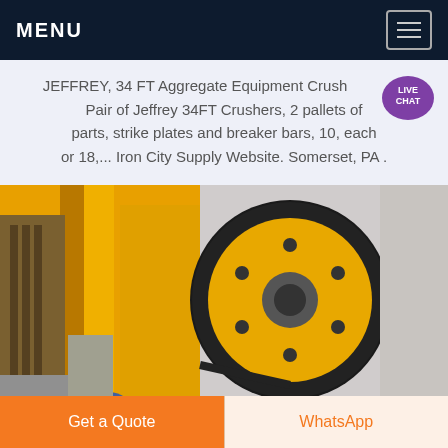MENU
JEFFREY, 34 FT Aggregate Equipment Crusher, Pair of Jeffrey 34FT Crushers, 2 pallets of parts, strike plates and breaker bars, 10, each or 18,... Iron City Supply Website. Somerset, PA .
[Figure (photo): Yellow jaw crusher machine with large flywheel/pulley visible, industrial aggregate crushing equipment photographed outdoors]
Get a Quote
WhatsApp